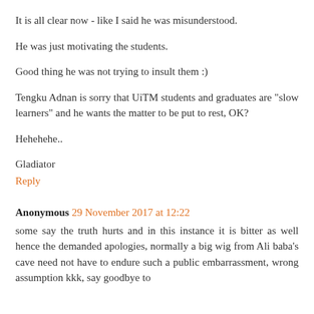It is all clear now - like I said he was misunderstood.
He was just motivating the students.
Good thing he was not trying to insult them :)
Tengku Adnan is sorry that UiTM students and graduates are "slow learners" and he wants the matter to be put to rest, OK?
Hehehehe..
Gladiator
Reply
Anonymous 29 November 2017 at 12:22
some say the truth hurts and in this instance it is bitter as well hence the demanded apologies, normally a big wig from Ali baba's cave need not have to endure such a public embarrassment, wrong assumption kkk, say goodbye to